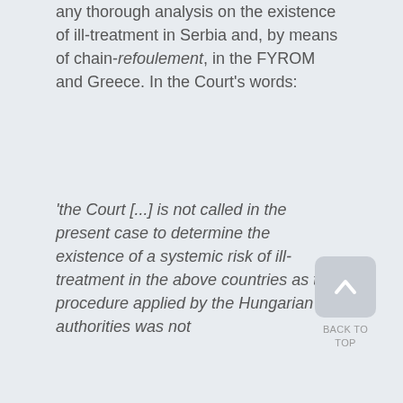any thorough analysis on the existence of ill-treatment in Serbia and, by means of chain-refoulement, in the FYROM and Greece. In the Court's words:
'the Court [...] is not called in the present case to determine the existence of a systemic risk of ill-treatment in the above countries as the procedure applied by the Hungarian authorities was not